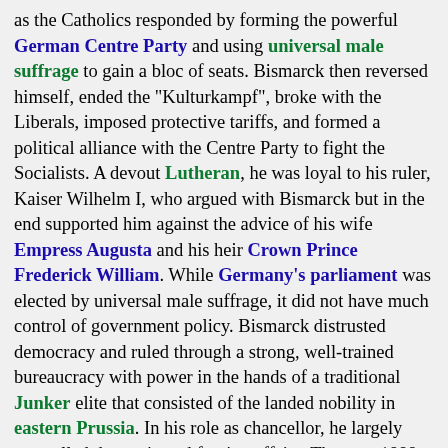as the Catholics responded by forming the powerful German Centre Party and using universal male suffrage to gain a bloc of seats. Bismarck then reversed himself, ended the "Kulturkampf", broke with the Liberals, imposed protective tariffs, and formed a political alliance with the Centre Party to fight the Socialists. A devout Lutheran, he was loyal to his ruler, Kaiser Wilhelm I, who argued with Bismarck but in the end supported him against the advice of his wife Empress Augusta and his heir Crown Prince Frederick William. While Germany's parliament was elected by universal male suffrage, it did not have much control of government policy. Bismarck distrusted democracy and ruled through a strong, well-trained bureaucracy with power in the hands of a traditional Junker elite that consisted of the landed nobility in eastern Prussia. In his role as chancellor, he largely controlled domestic and foreign affairs. The year 1888 saw a quick transition on the German throne from Wilhelm I to his son Frederick III to Frederick's son Wilhelm II. The headstrong Kaiser Wilhelm II dismissed Bismarck from office. He retired to write his memoirs. Bismarck was strong-willed, outspoken and overbearing, but he could also be polite, charming and witty. Occasionally he displayed a violent